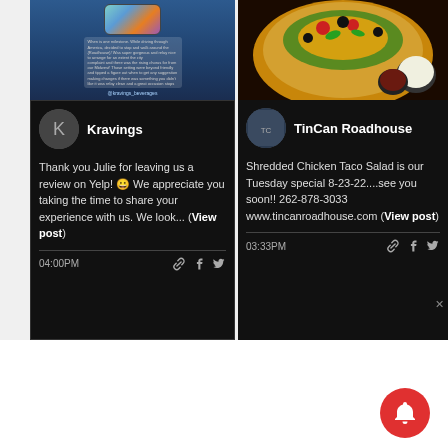[Figure (screenshot): Screenshot of a social media post card for 'Kravings' showing a phone image and text post about a Yelp review from Julie, with timestamp 04:00PM and social share icons]
[Figure (screenshot): Screenshot of a social media post card for 'TinCan Roadhouse' showing a photo of food (Shredded Chicken Taco Salad) and text about Tuesday special 8-23-22, phone 262-878-3033, website www.tincanroadhouse.com, timestamp 03:33PM and social share icons]